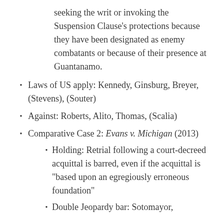seeking the writ or invoking the Suspension Clause’s protections because they have been designated as enemy combatants or because of their presence at Guantanamo.
Laws of US apply: Kennedy, Ginsburg, Breyer, (Stevens), (Souter)
Against: Roberts, Alito, Thomas, (Scalia)
Comparative Case 2: Evans v. Michigan (2013)
Holding: Retrial following a court-decreed acquittal is barred, even if the acquittal is “based upon an egregiously erroneous foundation”
Double Jeopardy bar: Sotomayor,